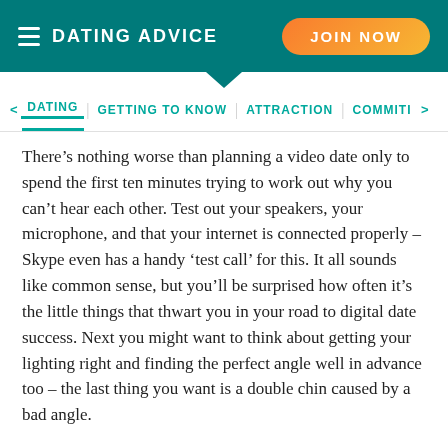DATING ADVICE
JOIN NOW
< DATING | GETTING TO KNOW | ATTRACTION | COMMITM >
There’s nothing worse than planning a video date only to spend the first ten minutes trying to work out why you can’t hear each other. Test out your speakers, your microphone, and that your internet is connected properly – Skype even has a handy ‘test call’ for this. It all sounds like common sense, but you’ll be surprised how often it’s the little things that thwart you in your road to digital date success. Next you might want to think about getting your lighting right and finding the perfect angle well in advance too – the last thing you want is a double chin caused by a bad angle.
MAKE IT SPECIAL
Even though it’s an online date, it’s still important to get excited about it and make an effort. Write it into your diary